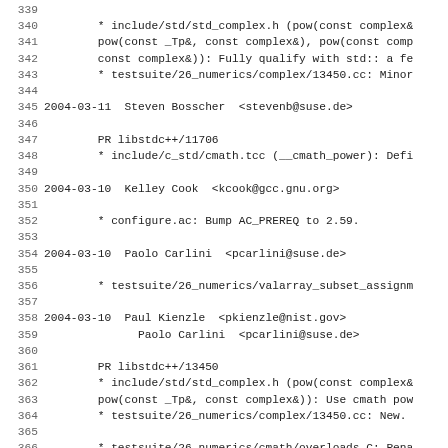Source code changelog/log lines 339-370 showing git/CVS commit log entries for libstdc++ with authors, dates, PR numbers, and file changes.